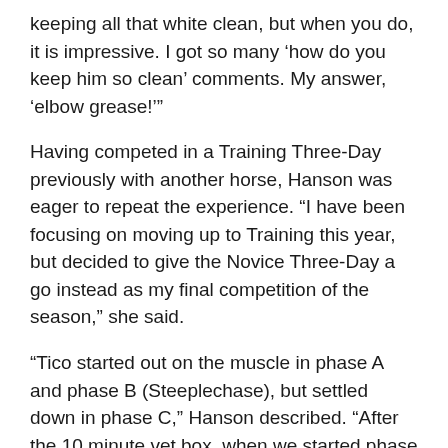keeping all that white clean, but when you do, it is impressive. I got so many ‘how do you keep him so clean’ comments. My answer, ‘elbow grease!’”
Having competed in a Training Three-Day previously with another horse, Hanson was eager to repeat the experience. “I have been focusing on moving up to Training this year, but decided to give the Novice Three-Day a go instead as my final competition of the season,” she said.
“Tico started out on the muscle in phase A and phase B (Steeplechase), but settled down in phase C,” Hanson described. “After the 10 minute vet box, when we started phase D, it was like Tico said, ‘What the heck, I thought we were done?’ but by fence 4, he kicked it into gear and was back in the groove.”
“Be sure to participate in all the educational